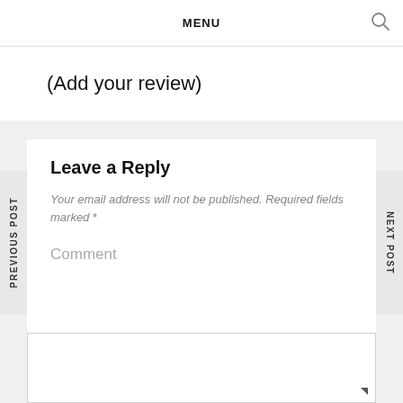MENU
(Add your review)
PREVIOUS POST
NEXT POST
Leave a Reply
Your email address will not be published. Required fields marked *
Comment